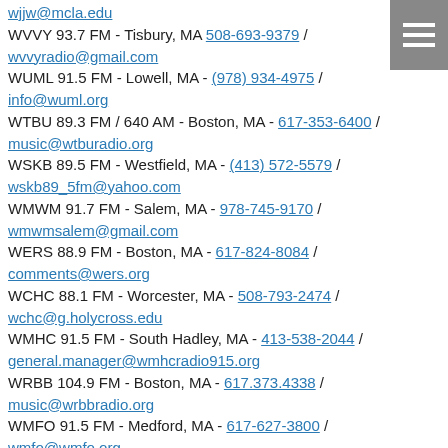wjjw@mcla.edu
WVVY 93.7 FM - Tisbury, MA 508-693-9379 / wvvyradio@gmail.com
WUML 91.5 FM - Lowell, MA - (978) 934-4975 / info@wuml.org
WTBU 89.3 FM / 640 AM - Boston, MA - 617-353-6400 / music@wtburadio.org
WSKB 89.5 FM - Westfield, MA - (413) 572-5579 / wskb89_5fm@yahoo.com
WMWM 91.7 FM - Salem, MA - 978-745-9170 / wmwmsalem@gmail.com
WERS 88.9 FM - Boston, MA - 617-824-8084 / comments@wers.org
WCHC 88.1 FM - Worcester, MA - 508-793-2474 / wchc@g.holycross.edu
WMHC 91.5 FM - South Hadley, MA - 413-538-2044 / general.manager@wmhcradio915.org
WRBB 104.9 FM - Boston, MA - 617.373.4338 / music@wrbbradio.org
WMFO 91.5 FM - Medford, MA - 617-627-3800 / wmfo@wmfo.org
WZLY 91.5 FM - Wellesley, MA - 781-283-2791 / md@wzly.net